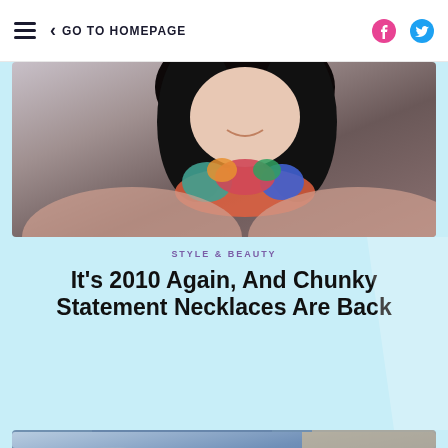GO TO HOMEPAGE
[Figure (photo): Woman with dark curly hair wearing a colorful chunky statement necklace with red, teal, and multicolor fabric/feather pieces]
STYLE & BEAUTY
It's 2010 Again, And Chunky Statement Necklaces Are Back
[Figure (photo): Person in a denim shirt receiving a bracelet or medical band on their wrist from gloved hands]